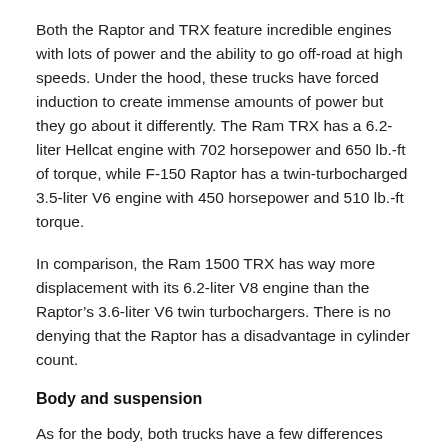Both the Raptor and TRX feature incredible engines with lots of power and the ability to go off-road at high speeds. Under the hood, these trucks have forced induction to create immense amounts of power but they go about it differently. The Ram TRX has a 6.2-liter Hellcat engine with 702 horsepower and 650 lb.-ft of torque, while F-150 Raptor has a twin-turbocharged 3.5-liter V6 engine with 450 horsepower and 510 lb.-ft torque.
In comparison, the Ram 1500 TRX has way more displacement with its 6.2-liter V8 engine than the Raptor’s 3.6-liter V6 twin turbochargers. There is no denying that the Raptor has a disadvantage in cylinder count.
Body and suspension
As for the body, both trucks have a few differences compared to their brand’s other variants.
The Ram TRX is 8 inches wider than the other variants of Ram 1500, while the Raptor has a bulkier body that is double the size of the regular...